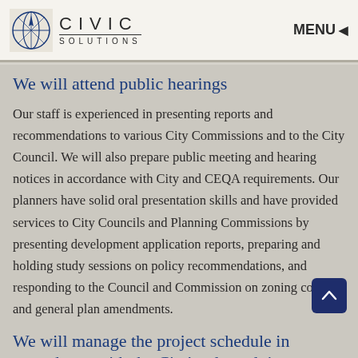CIVIC SOLUTIONS | MENU
We will attend public hearings
Our staff is experienced in presenting reports and recommendations to various City Commissions and to the City Council. We will also prepare public meeting and hearing notices in accordance with City and CEQA requirements. Our planners have solid oral presentation skills and have provided services to City Councils and Planning Commissions by presenting development application reports, preparing and holding study sessions on policy recommendations, and responding to the Council and Commission on zoning code and general plan amendments.
We will manage the project schedule in accordance with the City's adopted time